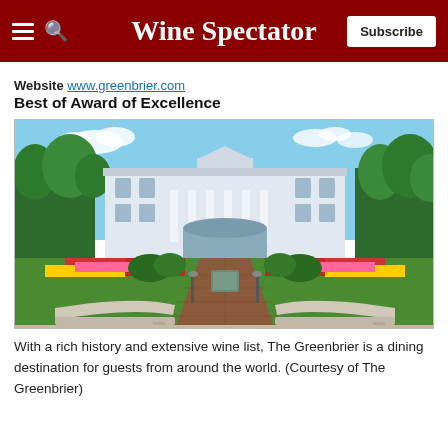Wine Spectator
Website www.greenbrier.com
Best of Award of Excellence
[Figure (photo): Exterior view of The Greenbrier resort showing a large white neoclassical building with columns, surrounded by green trees and colorful flower gardens. Two curved stone benches flank a brick path leading to the entrance, with a decorative plaque in the foreground.]
With a rich history and extensive wine list, The Greenbrier is a dining destination for guests from around the world. (Courtesy of The Greenbrier)